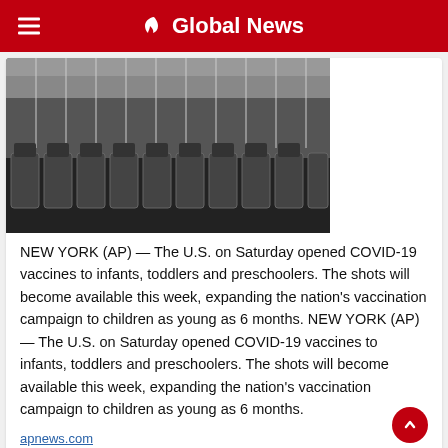Global News
[Figure (photo): Rows of glass vaccine vials in a pharmaceutical manufacturing setting, dark industrial background]
NEW YORK (AP) — The U.S. on Saturday opened COVID-19 vaccines to infants, toddlers and preschoolers. The shots will become available this week, expanding the nation's vaccination campaign to children as young as 6 months. NEW YORK (AP) — The U.S. on Saturday opened COVID-19 vaccines to infants, toddlers and preschoolers. The shots will become available this week, expanding the nation's vaccination campaign to children as young as 6 months.
apnews.com
[Figure (photo): Two vaccine vials with metal caps against a blue background]